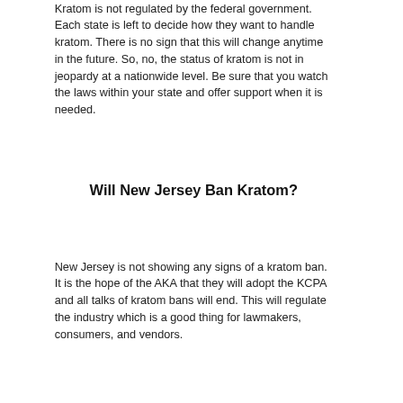Kratom is not regulated by the federal government. Each state is left to decide how they want to handle kratom. There is no sign that this will change anytime in the future. So, no, the status of kratom is not in jeopardy at a nationwide level. Be sure that you watch the laws within your state and offer support when it is needed.
Will New Jersey Ban Kratom?
New Jersey is not showing any signs of a kratom ban. It is the hope of the AKA that they will adopt the KCPA and all talks of kratom bans will end. This will regulate the industry which is a good thing for lawmakers, consumers, and vendors.